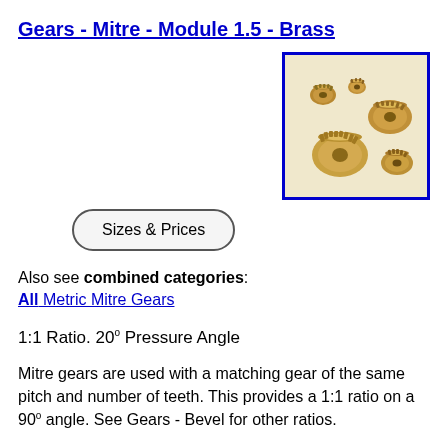Gears - Mitre - Module 1.5 - Brass
[Figure (photo): Multiple brass mitre gears of various sizes arranged together, showing bevel gear teeth, photographed against a light background inside a blue-bordered box.]
Sizes & Prices
Also see combined categories:
All Metric Mitre Gears
1:1 Ratio. 20° Pressure Angle
Mitre gears are used with a matching gear of the same pitch and number of teeth. This provides a 1:1 ratio on a 90° angle. See Gears - Bevel for other ratios.